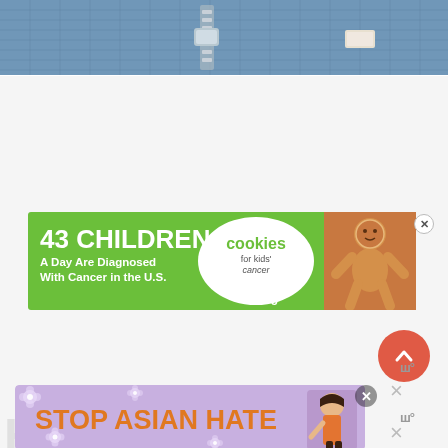[Figure (photo): Close-up photo of denim jeans fabric with zipper and hardware, blue tones]
[Figure (infographic): Advertisement banner: green background, '43 CHILDREN A Day Are Diagnosed With Cancer in the U.S.' with Cookies for Kids Cancer logo and 'Let's Get Baking' call to action on right side with gingerbread cookie image. Close X button in top right.]
[Figure (other): Scroll-to-top button: round salmon/coral colored button with upward chevron arrow]
[Figure (infographic): Partial 'Stop Asian Hate' advertisement on lavender/purple background with orange bold text, flower decorations, and an illustrated Asian woman figure. Close button visible.]